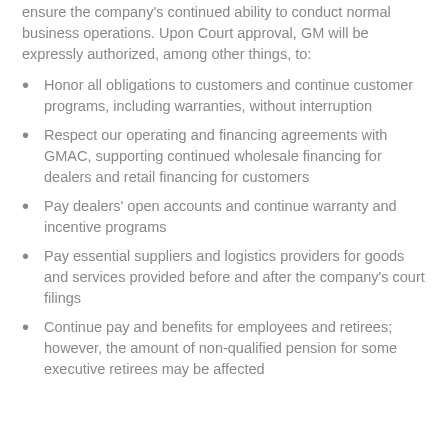ensure the company's continued ability to conduct normal business operations. Upon Court approval, GM will be expressly authorized, among other things, to:
Honor all obligations to customers and continue customer programs, including warranties, without interruption
Respect our operating and financing agreements with GMAC, supporting continued wholesale financing for dealers and retail financing for customers
Pay dealers' open accounts and continue warranty and incentive programs
Pay essential suppliers and logistics providers for goods and services provided before and after the company's court filings
Continue pay and benefits for employees and retirees; however, the amount of non-qualified pension for some executive retirees may be affected